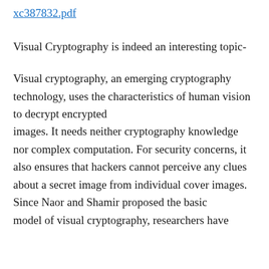xc387832.pdf
Visual Cryptography is indeed an interesting topic-
Visual cryptography, an emerging cryptography technology, uses the characteristics of human vision to decrypt encrypted images. It needs neither cryptography knowledge nor complex computation. For security concerns, it also ensures that hackers cannot perceive any clues about a secret image from individual cover images. Since Naor and Shamir proposed the basic model of visual cryptography, researchers have